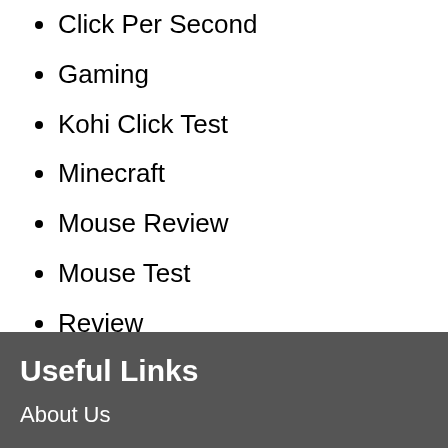Click Per Second
Gaming
Kohi Click Test
Minecraft
Mouse Review
Mouse Test
Review
Roblox
[Figure (infographic): Social share icons: Facebook (blue), Twitter (blue), LinkedIn (blue), Share/plus (blue)]
Useful Links
About Us